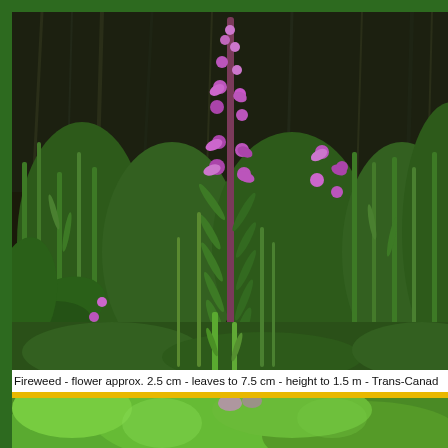[Figure (photo): Photograph of fireweed plants with pink-purple flowers on tall stems, surrounded by green foliage and grasses, with a dark wooded background. Trans-Canada location.]
Fireweed - flower approx. 2.5 cm - leaves to 7.5 cm - height to 1.5 m - Trans-Canad
[Figure (photo): Partial photograph of green plant leaves visible at the bottom of the page.]